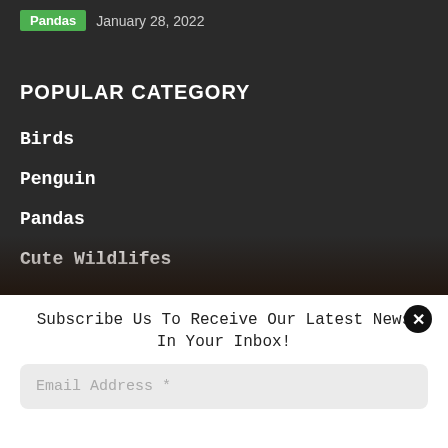Pandas  January 28, 2022
POPULAR CATEGORY
Birds
Penguin
Pandas
Cute Wildlifes
Subscribe Us To Receive Our Latest News In Your Inbox!
Email Address *